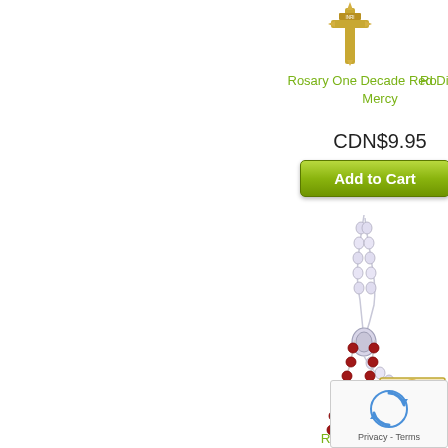[Figure (photo): Gold cross/crucifix image at top of product listing, partially visible]
Rosary One Decade Red Divine Mercy
CDN$9.95
Add to Cart
[Figure (photo): White/silver rosary with crystal beads and ornate crucifix pendant - Rosary Pink Crystal product image]
Rosary Pink Crystal
CDN$15.95
Add to Cart
[Figure (photo): Red bead rosary with religious image card - partially visible at bottom]
[Figure (other): Google reCAPTCHA widget overlay in bottom right corner showing spinning arrow logo and Privacy - Terms text]